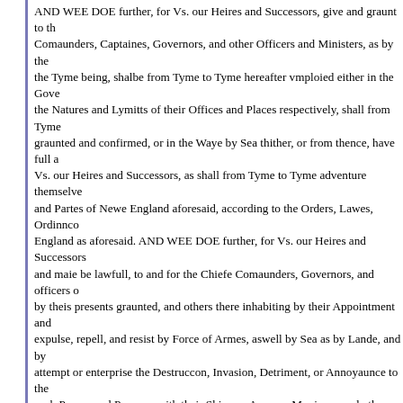AND WEE DOE further, for Vs. our Heires and Successors, give and graunt to the Comaunders, Captaines, Governors, and other Officers and Ministers, as by the the Tyme being, shalbe from Tyme to Tyme hereafter vmploied either in the Gove the Natures and Lymitts of their Offices and Places respectively, shall from Tyme graunted and confirmed, or in the Waye by Sea thither, or from thence, have full a Vs. our Heires and Successors, as shall from Tyme to Tyme adventure themselves and Partes of Newe England aforesaid, according to the Orders, Lawes, Ordinnco England as aforesaid. AND WEE DOE further, for Vs. our Heires and Successors and maie be lawfull, to and for the Chiefe Comaunders, Governors, and officers o by theis presents graunted, and others there inhabiting by their Appointment and expulse, repell, and resist by Force of Armes, aswell by Sea as by Lande, and by attempt or enterprise the Destruccon, Invasion, Detriment, or Annoyaunce to the such Person and Persons, with their Shippes, Armour, Municons and other Good Company and Inhabitants: NEVERTHELESS, our Will and Pleasure is, and Wee hereafter be of the said Company or Plantacon or any other by Lycense or Appoi or spoyle, by Sea or by Land, or doe any Hurt, Violence, or vnlawful Hostilitie to a then in League and Amytie with Vs. our Heires and Successors, and that upon su Successors shall make open Proclamacon within any of the Partes within our Re Roberie or Spoyle, shall within the Terme lymytted by such a Proclamacon, make maie hould themselves fullie satisfied and contented; and that yf the said Person accordinglie, within such Tyme soe to be lymytted, that then it shalbe lawfull for V that it shalbe lawfull and free for all Princes to prosecute with Hostilitie, the said C Behalf: PROVIDED also, and our expresse Will and Pleasure is, And Wee doe by manner envre, or be taken to abridge, barr, or hinder any of our loving subjects w Presents mencoed to be graunted. But that they, and every, or any of them shall any the Seas therevnto adioyning, or any Armes of the Seas or Saltwater Rivers such Wharfes, Stages, and Workehouses as shalbe necessarie for the salting, dr take such Trees and other Materialls there groweing, or being, or shalbe needefu Trade of Fishing there, in such Manner and Forme as they have byn heretofore a conteyned to the contrarie notwithstanding. AND WEE DOE further, for Vs. our H theis Presents that theis our Letters-patents shalbe firme, good, effectuall, and av before declared, and shalbe construed, reputed, and adiudged in all Cases most